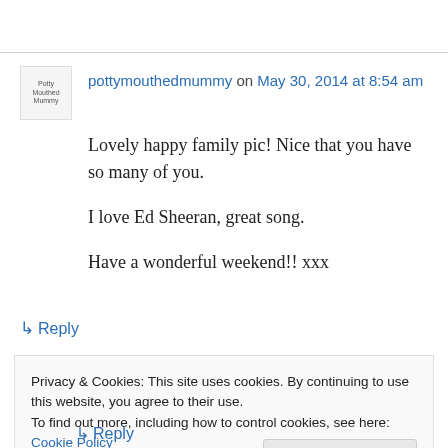pottymouthedmummy on May 30, 2014 at 8:54 am
Lovely happy family pic! Nice that you have so many of you.

I love Ed Sheeran, great song.

Have a wonderful weekend!! xxx
↳ Reply
Privacy & Cookies: This site uses cookies. By continuing to use this website, you agree to their use.
To find out more, including how to control cookies, see here: Cookie Policy
Close and accept
↳ Reply